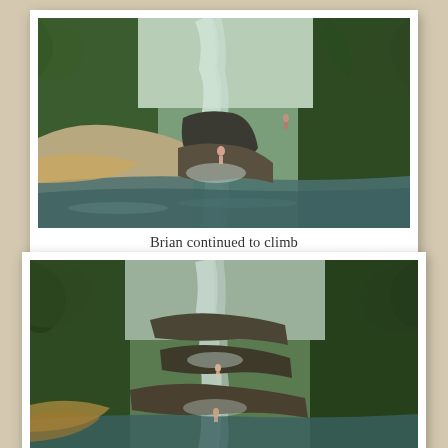[Figure (photo): Polaroid-style photo card showing a tropical waterfall cascading into a green pool. Lush jungle greenery surrounds the falls. Two people are visible near the base and midway up the rocks.]
Brian continued to climb
[Figure (photo): Second photo card (partially visible, cropped at bottom) showing the same or similar tropical waterfall scene from a different angle, with dense green vegetation and water cascading over rocky tiers. Two people visible on the rocks.]